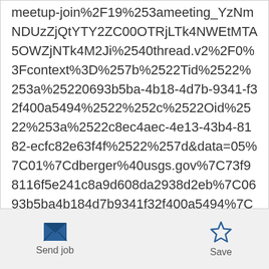meetup-join%2F19%253ameeting_YzNmNDUzZjQtYTY2ZC00OTRjLTk4NWEtMTA5OWZjNTk4M2Ji%2540thread.v2%2F0%3Fcontext%3D%257b%2522Tid%2522%253a%25220693b5ba-4b18-4d7b-9341-f32f400a5494%2522%252c%2522Oid%2522%253a%2522c8ec4aec-4e13-43b4-8182-ecfc82e63f4f%2522%257d&data=05%7C01%7Cdberger%40usgs.gov%7C73f98116f5e241c8a9d608da2938d2eb%7C0693b5ba4b184d7b9341f32f400a5494%7C0%7C0%7C637867621272684518%7CUnknown%7CTWFpbGZsb3d8eyJWIjoiMC4wLjAwMDAiLCJQIjoiV2luMzIiLCJBTiI6Ik1haWwiLCJXVCI6Mn0%3D%7C3000%
Send job  Save